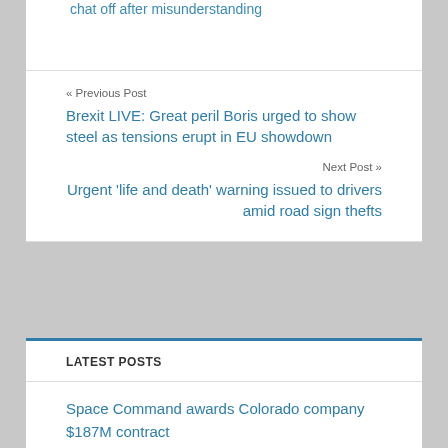chat off after misunderstanding
« Previous Post
Brexit LIVE: Great peril Boris urged to show steel as tensions erupt in EU showdown
Next Post »
Urgent ‘life and death’ warning issued to drivers amid road sign thefts
LATEST POSTS
Space Command awards Colorado company $187M contract